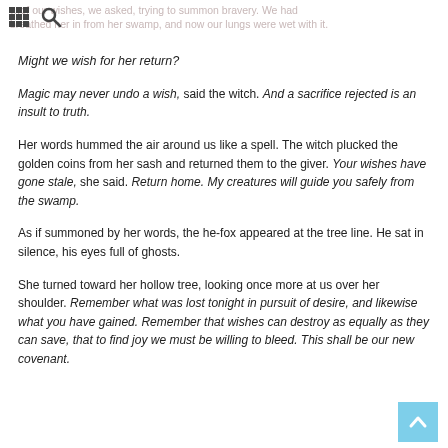…of our wishes, we asked, trying to summon bravery. We had breathed her in from her swamp, and now our lungs were wet with it.
Might we wish for her return?
Magic may never undo a wish, said the witch. And a sacrifice rejected is an insult to truth.
Her words hummed the air around us like a spell. The witch plucked the golden coins from her sash and returned them to the giver. Your wishes have gone stale, she said. Return home. My creatures will guide you safely from the swamp.
As if summoned by her words, the he-fox appeared at the tree line. He sat in silence, his eyes full of ghosts.
She turned toward her hollow tree, looking once more at us over her shoulder. Remember what was lost tonight in pursuit of desire, and likewise what you have gained. Remember that wishes can destroy as equally as they can save, that to find joy we must be willing to bleed. This shall be our new covenant.